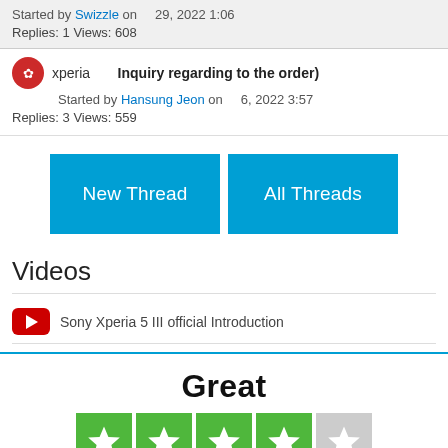Started by Swizzle on 29, 2022 1:06
Replies: 1 Views: 608
xperia Inquiry regarding to the order)
Started by Hansung Jeon on 6, 2022 3:57
Replies: 3 Views: 559
[Figure (other): Two blue buttons: New Thread and All Threads]
Videos
Sony Xperia 5 III official Introduction
Great
[Figure (other): Trustpilot 4-star rating display with 4 green filled stars and 1 grey star]
Based on 3,452 reviews